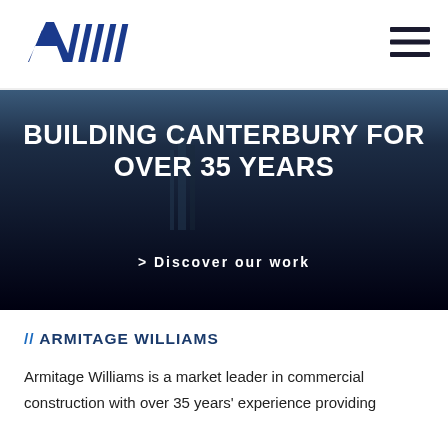[Figure (logo): AIA/Armitage Williams logo with blue diagonal stripes]
[Figure (illustration): Hamburger menu icon (three horizontal dark lines)]
[Figure (photo): Dark hero banner with a faint aerial/construction background image, overlaid with white bold text]
BUILDING CANTERBURY FOR OVER 35 YEARS
> Discover our work
// ARMITAGE WILLIAMS
Armitage Williams is a market leader in commercial construction with over 35 years' experience providing